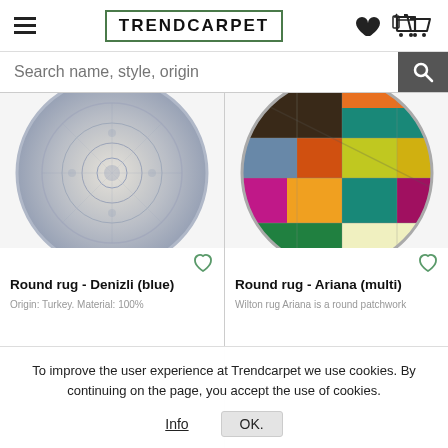TRENDCARPET
Search name, style, origin
[Figure (photo): Round rug - Denizli (blue), a circular rug with blue and beige ornamental pattern]
Round rug - Denizli (blue)
Origin: Turkey. Material: 100%
[Figure (photo): Round rug - Ariana (multi), a circular patchwork rug with colorful multi-colored patches]
Round rug - Ariana (multi)
Wilton rug Ariana is a round patchwork
To improve the user experience at Trendcarpet we use cookies. By continuing on the page, you accept the use of cookies.
Info
OK.